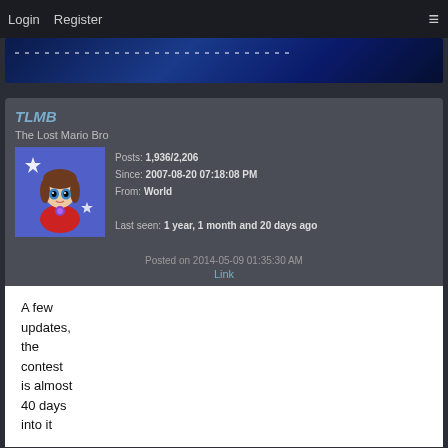Login   Register   ☰
[Figure (photo): Blue starry banner image strip at the top of the forum page]
TLMB
The Lost Mario Bro
[Figure (illustration): Avatar of an anime-style girl with brown hair and blue eyes on purple background with stars]
Posts: 1,936/2,206
Since: 2007-08-20 07:18:08 PM
From: World

Last seen: 1 year, 1 month and 20 days ago
Posted on 2014-05-09 01:35:30 AM
Link
A few updates, the contest is almost 40 days into it